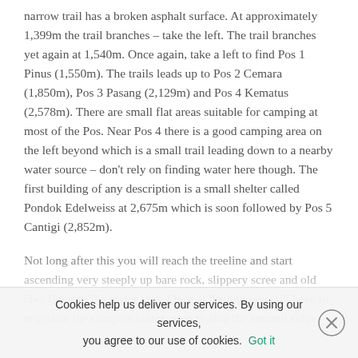narrow trail has a broken asphalt surface. At approximately 1,399m the trail branches – take the left. The trail branches yet again at 1,540m. Once again, take a left to find Pos 1 Pinus (1,550m). The trails leads up to Pos 2 Cemara (1,850m), Pos 3 Pasang (2,129m) and Pos 4 Kematus (2,578m). There are small flat areas suitable for camping at most of the Pos. Near Pos 4 there is a good camping area on the left beyond which is a small trail leading down to a nearby water source – don't rely on finding water here though. The first building of any description is a small shelter called Pondok Edelweiss at 2,675m which is soon followed by Pos 5 Cantigi (2,852m).
Not long after this you will reach the treeline and start ascending very steeply up bare rock, slippery scree and old lava flows to the crater area. Once at the top, you still have to negotiate the complex crater areas to find the summit ridge
Cookies help us deliver our services. By using our services, you agree to our use of cookies. Got it